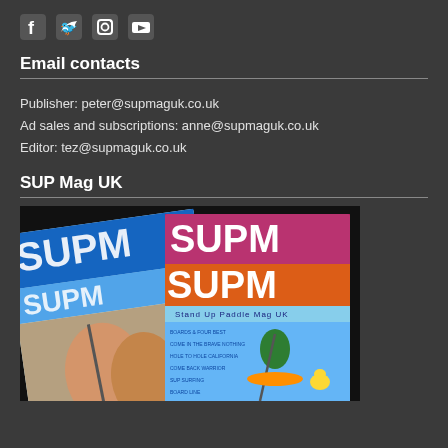[Figure (illustration): Four social media icons: Facebook, Twitter, Instagram, YouTube]
Email contacts
Publisher: peter@supmaguk.co.uk
Ad sales and subscriptions: anne@supmaguk.co.uk
Editor: tez@supmaguk.co.uk
SUP Mag UK
[Figure (photo): Two SUP Mag UK magazine covers showing stand up paddle boarding content]